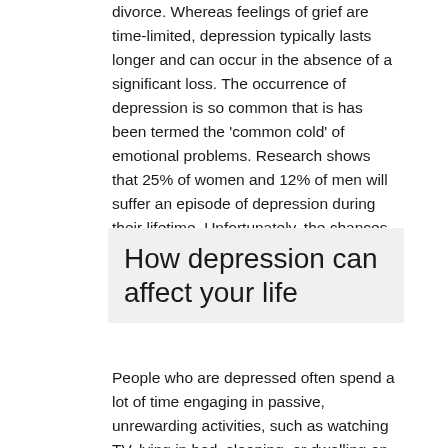divorce. Whereas feelings of grief are time-limited, depression typically lasts longer and can occur in the absence of a significant loss. The occurrence of depression is so common that is has been termed the 'common cold' of emotional problems. Research shows that 25% of women and 12% of men will suffer an episode of depression during their lifetime. Unfortunately, the chances of having another episode of depression after the first episode are high.
How depression can affect your life
People who are depressed often spend a lot of time engaging in passive, unrewarding activities, such as watching TV, lying in bed, sleeping, or dwelling on their problems. They may stop caring about their appearance and be hesitant to spend money on themselves or reward themselves in other ways. Marital discord or conflict is frequently a cause or a consequence of depression. More close relationships and